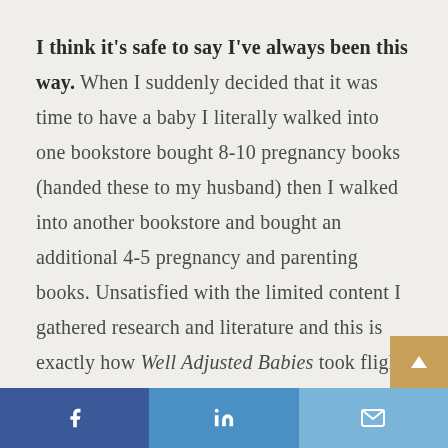I think it's safe to say I've always been this way. When I suddenly decided that it was time to have a baby I literally walked into one bookstore bought 8-10 pregnancy books (handed these to my husband) then I walked into another bookstore and bought an additional 4-5 pregnancy and parenting books. Unsatisfied with the limited content I gathered research and literature and this is exactly how Well Adjusted Babies took flight. Imagine if you will then 2-3 months of me painfully fine-tuning everything Simon and I ate, drank, sprayed and washed wi
Facebook | LinkedIn | Email